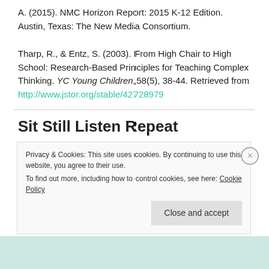A. (2015). NMC Horizon Report: 2015 K-12 Edition. Austin, Texas: The New Media Consortium.
Tharp, R., & Entz, S. (2003). From High Chair to High School: Research-Based Principles for Teaching Complex Thinking. YC Young Children,58(5), 38-44. Retrieved from http://www.jstor.org/stable/42728979
Sit Still Listen Repeat
Privacy & Cookies: This site uses cookies. By continuing to use this website, you agree to their use.
To find out more, including how to control cookies, see here: Cookie Policy